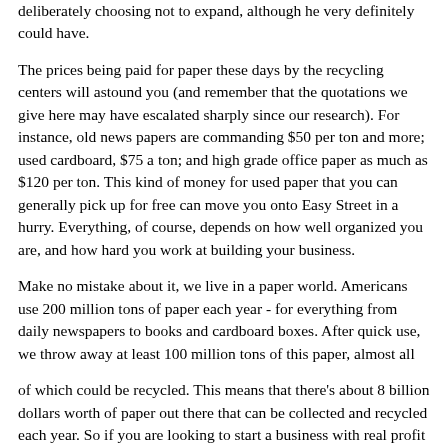deliberately choosing not to expand, although he very definitely could have.
The prices being paid for paper these days by the recycling centers will astound you (and remember that the quotations we give here may have escalated sharply since our research). For instance, old news papers are commanding $50 per ton and more; used cardboard, $75 a ton; and high grade office paper as much as $120 per ton. This kind of money for used paper that you can generally pick up for free can move you onto Easy Street in a hurry. Everything, of course, depends on how well organized you are, and how hard you work at building your business.
Make no mistake about it, we live in a paper world. Americans use 200 million tons of paper each year - for everything from daily newspapers to books and cardboard boxes. After quick use, we throw away at least 100 million tons of this paper, almost all
of which could be recycled. This means that there's about 8 billion dollars worth of paper out there that can be collected and recycled each year. So if you are looking to start a business with real profit potential, what are you waiting for?
Just look around your own home. In the garage or basement, for instance. What do you do with the old newspapers after you've